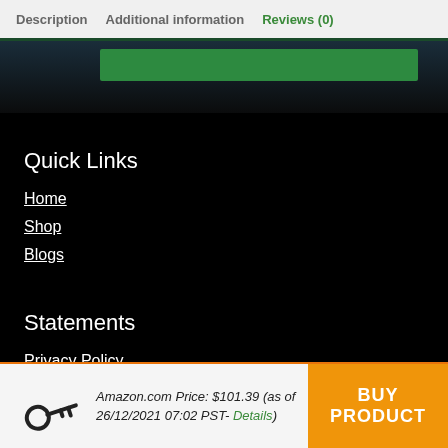Description   Additional information   Reviews (0)
[Figure (screenshot): Dark blue/green banner strip with green bar across top of main content area]
Quick Links
Home
Shop
Blogs
Statements
Privacy Policy
Terms & Conditions
Amazon.com Price: $101.39 (as of 26/12/2021 07:02 PST- Details)